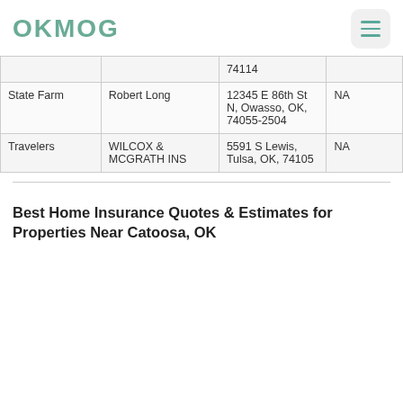OKMOG
| Company | Agent | Address | Phone |
| --- | --- | --- | --- |
|  |  | 74114 |  |
| State Farm | Robert Long | 12345 E 86th St N, Owasso, OK, 74055-2504 | NA |
| Travelers | WILCOX & MCRATH INS | 5591 S Lewis, Tulsa, OK, 74105 | NA |
Best Home Insurance Quotes & Estimates for Properties Near Catoosa, OK